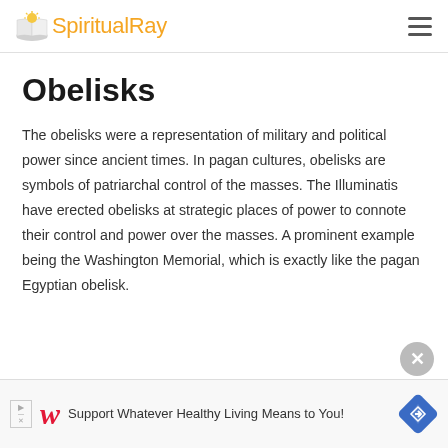SpiritualRay
Obelisks
The obelisks were a representation of military and political power since ancient times. In pagan cultures, obelisks are symbols of patriarchal control of the masses. The Illuminatis have erected obelisks at strategic places of power to connote their control and power over the masses. A prominent example being the Washington Memorial, which is exactly like the pagan Egyptian obelisk.
[Figure (other): Advertisement banner: Walgreens logo with text 'Support Whatever Healthy Living Means to You!' and a blue diamond navigation icon]